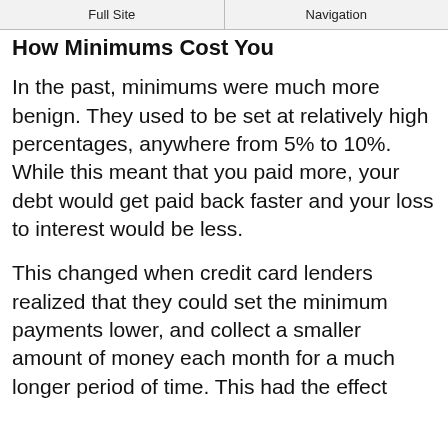Full Site | Navigation
How Minimums Cost You
In the past, minimums were much more benign. They used to be set at relatively high percentages, anywhere from 5% to 10%. While this meant that you paid more, your debt would get paid back faster and your loss to interest would be less.
This changed when credit card lenders realized that they could set the minimum payments lower, and collect a smaller amount of money each month for a much longer period of time. This had the effect